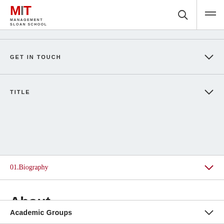MIT Management Sloan School
GET IN TOUCH
TITLE
01.Biography
About
Academic Groups